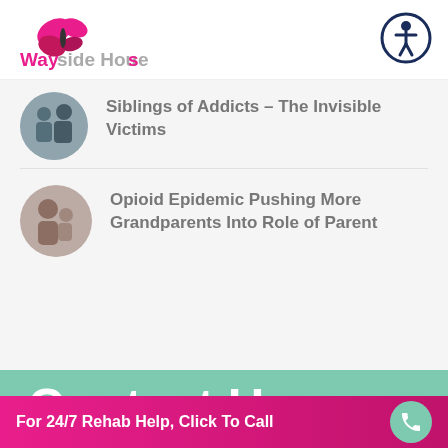[Figure (logo): Wayside House logo with butterfly and pink text]
[Figure (illustration): Accessibility icon - person in circle with navy border]
Siblings of Addicts – The Invisible Victims
Opioid Epidemic Pushing More Grandparents Into Role of Parent
Contact Us
For 24/7 Rehab Help, Click To Call